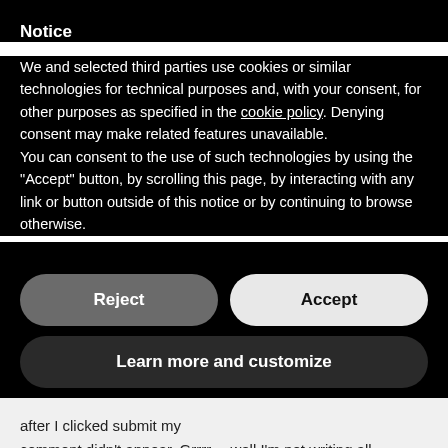Notice
We and selected third parties use cookies or similar technologies for technical purposes and, with your consent, for other purposes as specified in the cookie policy. Denying consent may make related features unavailable.
You can consent to the use of such technologies by using the “Accept” button, by scrolling this page, by interacting with any link or button outside of this notice or by continuing to browse otherwise.
Reject
Accept
Learn more and customize
after I clicked submit my comment didn’t appear. Grrrr… well I’m not writing all that over again. Regardless, just wanted to say wonderful blog
Also visit my blog post ::